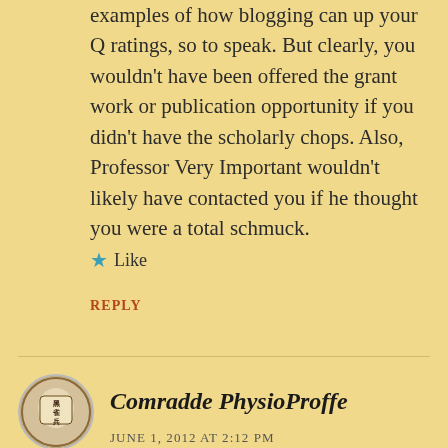examples of how blogging can up your Q ratings, so to speak. But clearly, you wouldn't have been offered the grant work or publication opportunity if you didn't have the scholarly chops. Also, Professor Very Important wouldn't likely have contacted you if he thought you were a total schmuck.
★ Like
REPLY
Comradde PhysioProffe
JUNE 1, 2012 AT 2:12 PM